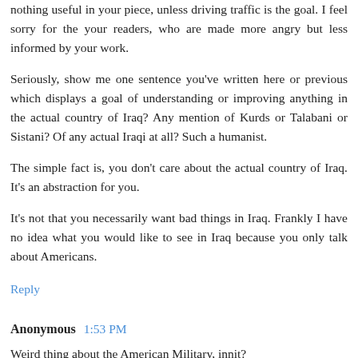nothing useful in your piece, unless driving traffic is the goal. I feel sorry for the your readers, who are made more angry but less informed by your work.
Seriously, show me one sentence you've written here or previous which displays a goal of understanding or improving anything in the actual country of Iraq? Any mention of Kurds or Talabani or Sistani? Of any actual Iraqi at all? Such a humanist.
The simple fact is, you don't care about the actual country of Iraq. It's an abstraction for you.
It's not that you necessarily want bad things in Iraq. Frankly I have no idea what you would like to see in Iraq because you only talk about Americans.
Reply
Anonymous  1:53 PM
Weird thing about the American Military, innit?